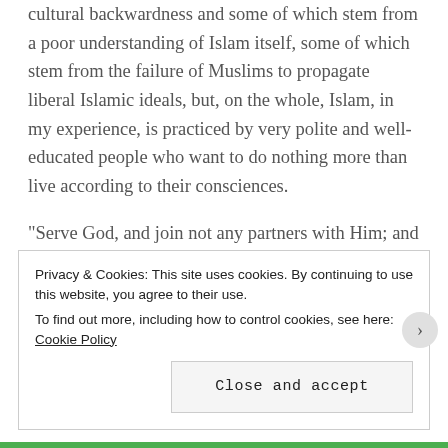cultural backwardness and some of which stem from a poor understanding of Islam itself, some of which stem from the failure of Muslims to propagate liberal Islamic ideals, but, on the whole, Islam, in my experience, is practiced by very polite and well-educated people who want to do nothing more than live according to their consciences.
“Serve God, and join not any partners with Him; and do good – to parents, kinsfolk, orphans, those in need, neighbors who are near, neighbors who are strangers, the companion by your side, the wayfarer (ye meet), and what your right hands possess [the slave]: For God loveth not
Privacy & Cookies: This site uses cookies. By continuing to use this website, you agree to their use.
To find out more, including how to control cookies, see here: Cookie Policy
Close and accept